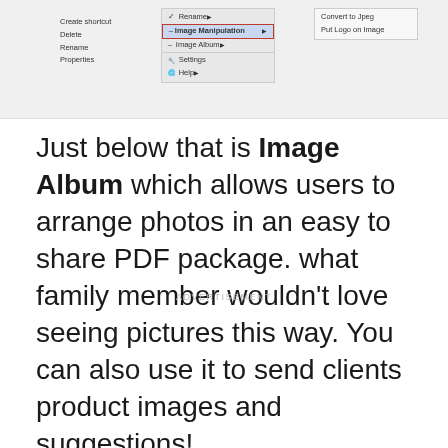[Figure (screenshot): Screenshot of a right-click context menu showing options including Rename, Image Manipulation (highlighted with red border), Image Album, Settings, and Help, with a submenu showing Convert to Jpeg and Put Logo on Image options. Left side shows Create shortcut, Delete, Rename, Properties menu items.]
Just below that is Image Album which allows users to arrange photos in an easy to share PDF package. what family member wouldn't love seeing pictures this way. You can also use it to send clients product images and suggestions!
ADVERTISEMENT